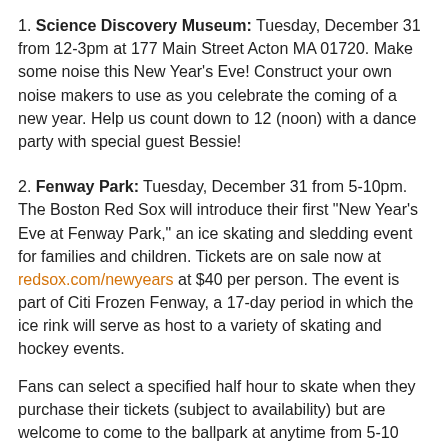1. Science Discovery Museum: Tuesday, December 31 from 12-3pm at 177 Main Street Acton MA 01720. Make some noise this New Year's Eve! Construct your own noise makers to use as you celebrate the coming of a new year. Help us count down to 12 (noon) with a dance party with special guest Bessie!
2. Fenway Park: Tuesday, December 31 from 5-10pm. The Boston Red Sox will introduce their first "New Year's Eve at Fenway Park," an ice skating and sledding event for families and children. Tickets are on sale now at redsox.com/newyears at $40 per person. The event is part of Citi Frozen Fenway, a 17-day period in which the ice rink will serve as host to a variety of skating and hockey events.
Fans can select a specified half hour to skate when they purchase their tickets (subject to availability) but are welcome to come to the ballpark at anytime from 5-10 p.m. to enjoy the festivities. Ticketed patrons will have access to the new 'Monster Sled' throughout the night.